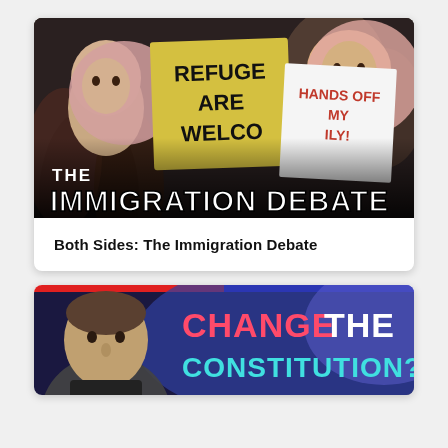[Figure (photo): Photo of immigration rally protesters holding signs reading 'REFUGEES ARE WELCOME' and 'HANDS OFF MY FAMILY' with overlay text 'THE IMMIGRATION DEBATE']
Both Sides: The Immigration Debate
[Figure (photo): Thumbnail image of a man on left side with colorful background and text 'CHANGE THE CONSTITUTION?']